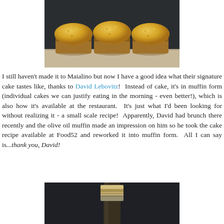[Figure (photo): Three round golden olive oil muffins in paper/brown baking cups, arranged in a row on a light wooden surface against a dark gray background.]
I still haven't made it to Maialino but now I have a good idea what their signature cake tastes like, thanks to David Lebovitz!  Instead of cake, it's in muffin form (individual cakes we can justify eating in the morning - even better!), which is also how it's available at the restaurant.  It's just what I'd been looking for without realizing it - a small scale recipe!  Apparently, David had brunch there recently and the olive oil muffin made an impression on him so he took the cake recipe available at Food52 and reworked it into muffin form.  All I can say is...thank you, David!
[Figure (photo): Close-up of the top of a dark glass bottle with a gold and silver metal cap, against a dark background — likely an olive oil bottle.]